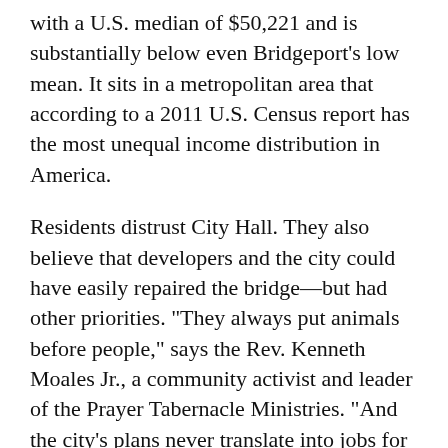with a U.S. median of $50,221 and is substantially below even Bridgeport's low mean. It sits in a metropolitan area that according to a 2011 U.S. Census report has the most unequal income distribution in America.
Residents distrust City Hall. They also believe that developers and the city could have easily repaired the bridge—but had other priorities. "They always put animals before people," says the Rev. Kenneth Moales Jr., a community activist and leader of the Prayer Tabernacle Ministries. "And the city's plans never translate into jobs for people in our East End community."
Bridgeport Mayor Bill Finch hopes to allay suspicions by making Pleasure Beach accessible to residents with a water taxi service. Already funded